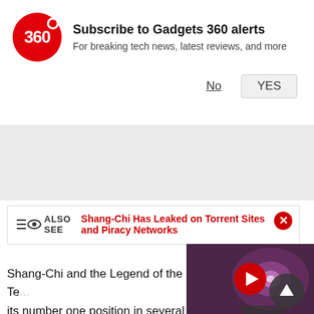Subscribe to Gadgets 360 alerts
For breaking tech news, latest reviews, and more
No   YES
[Figure (screenshot): Gray advertisement space placeholder]
ALSO SEE  Shang-Chi Has Leaked on Torrent Sites and Piracy Networks
[Figure (screenshot): Video thumbnail showing a TV screen with a spiral galaxy; red play button overlay in center]
Shang-Chi and the Legend of the Te... its number one position in several te... including Australia, Brazil, France, Germany, Italy, Mexico, Russia, South Korea, Spain and the UK. This despite the fact that 60 percent of Australia, by box